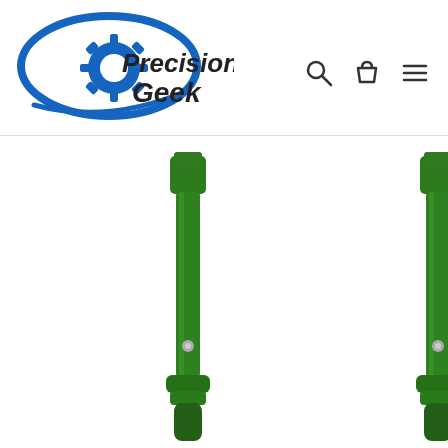[Figure (logo): Precision Geek logo with blue gear and swoosh, black bold italic text reading Precision Geek]
[Figure (other): Navigation icons: search (magnifying glass), cart (shopping bag), menu (hamburger lines)]
[Figure (photo): Two green anodized aluminum extended takedown pins or similar AR-15 parts, cylindrical with hexagonal tops and a small pin hole near the bottom, on white background]